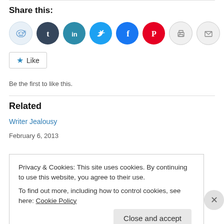Share this:
[Figure (infographic): Row of social share icon circles: Reddit (light blue), Tumblr (dark blue), LinkedIn (teal), Twitter (cyan), Facebook (blue), Pinterest (red), Print (gray), Email (gray)]
[Figure (infographic): Like button with blue star icon and 'Like' text]
Be the first to like this.
Related
Writer Jealousy
February 6, 2013
Privacy & Cookies: This site uses cookies. By continuing to use this website, you agree to their use.
To find out more, including how to control cookies, see here: Cookie Policy
Close and accept